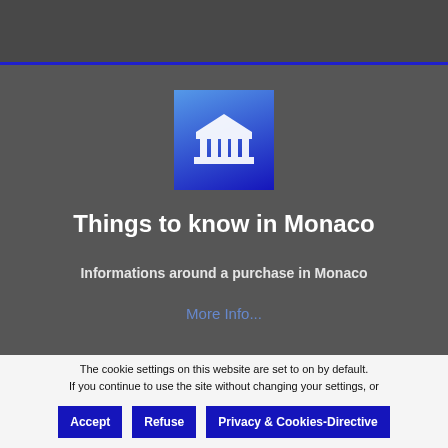[Figure (logo): Blue square icon with white classical building / institution symbol (columns and pediment)]
Things to know in Monaco
Informations around a purchase in Monaco
More Info...
The cookie settings on this website are set to on by default. If you continue to use the site without changing your settings, or if you click Accept, you agree to it!
Accept
Refuse
Privacy & Cookies-Directive